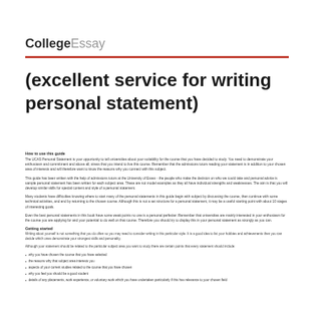CollegeEssay
(excellent service for writing personal statement)
How to use this guide
The UCAS Personal Statement is your opportunity to tell universities about your suitability for the course that you have decided to study. You need to demonstrate your enthusiasm and commitment and above all, stress that you intend to live this course. Remember that the admissions tutors reading your statement is in addition to your chosen area of interests and will therefore want to know the reasons why you connect with this subject.
This guide has been written with the help of admissions tutors at the University of Essex - the people who make the decision on who we could take and personal advice is sample personal statement has been written for each subject area. These are not model examples as they all have individual strengths and weaknesses. The aim is that you will develop similar skills for special content and style of a personal statement.
Many students have difficulties knowing where to start many of the personal statements in this guide begin with subject by discussing the course, then continue with some technical activities, and end by returning to the chosen course. Although this is not a set structure for a personal statement, it may be a useful starting point with about 10 stages of interesting goals.
Even the best personal statements in this book have some weak points no one is a personal perfecter. Remember that universities are mainly interested in your enthusiasm for the course you are applying for and your potential to do well on that course. Therefore you should try to display this in your personal statement as strongly as you can.
Getting started
Writing about yourself is not something that you do often so you may need to consider writing in this particular style. It is a good idea to list your hobbies and achievements then you can decide which ones demonstrate your strongest skills and personality.
Although your statement should be related to the particular subject area you want to study there are certain points that every statement should include:
why you have chosen the course that you have selected
the reasons why that subject area interests you
aspects of your current studies related to the course that you have chosen
why you feel you would be a good student
details of any placements, work experience, or voluntary work which you have undertaken particularly if this has relevance to your chosen field